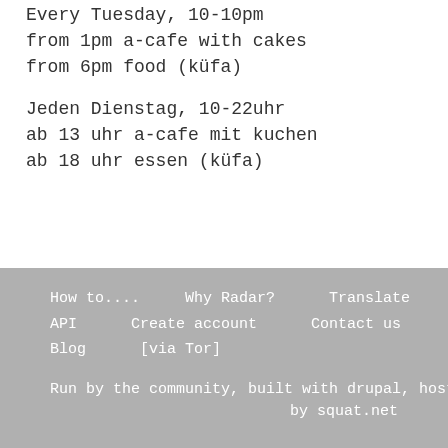Every Tuesday, 10-10pm
from 1pm a-cafe with cakes
from 6pm food (küfa)
Jeden Dienstag, 10-22uhr
ab 13 uhr a-cafe mit kuchen
ab 18 uhr essen (küfa)
How to....     Why Radar?      Translate
API      Create account      Contact us
Blog      [via Tor]

Run by the community, built with drupal, hosted
                                    by squat.net